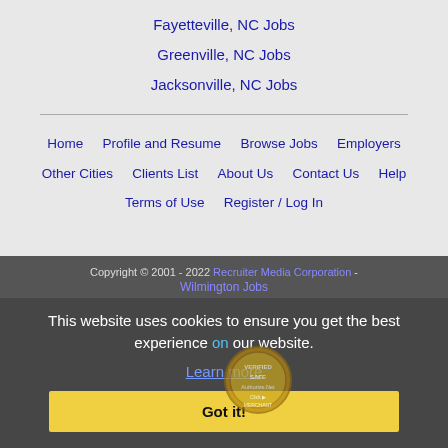Fayetteville, NC Jobs
Greenville, NC Jobs
Jacksonville, NC Jobs
Home  Profile and Resume  Browse Jobs  Employers  Other Cities  Clients List  About Us  Contact Us  Help  Terms of Use  Register / Log In
Copyright © 2001 - 2022 Recruiter Media Corporation - Wilmington Jobs
This website uses cookies to ensure you get the best experience on our website.
Learn more
Got it!